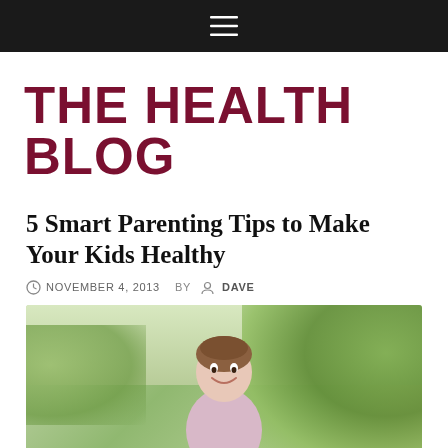≡
THE HEALTH BLOG
5 Smart Parenting Tips to Make Your Kids Healthy
NOVEMBER 4, 2013   BY   DAVE
[Figure (photo): Smiling young girl outdoors with green trees in background]